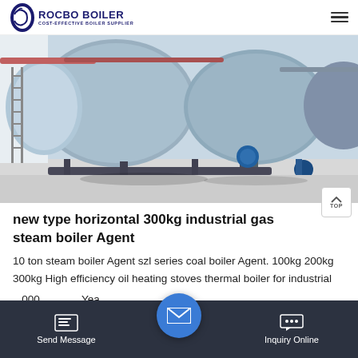[Figure (logo): Rocbo Boiler logo with circular wave icon and text 'ROCBO BOILER / COST-EFFECTIVE BOILER SUPPLIER']
[Figure (photo): Industrial horizontal steam boilers in a factory setting, large cylindrical tanks with piping]
new type horizontal 300kg industrial gas steam boiler Agent
10 ton steam boiler Agent szl series coal boiler Agent. 100kg 200kg 300kg High efficiency oil heating stoves thermal boiler for industrial ...000 Yea... Food
[Figure (infographic): Bottom navigation bar with Send Message icon, email envelope bubble button, and Inquiry Online icon on dark background]